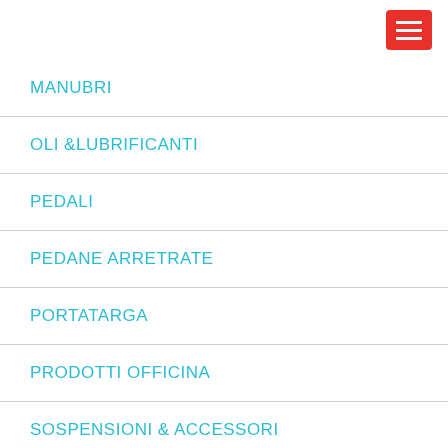[Figure (other): Red hamburger menu button in top right corner]
MANUBRI
OLI &LUBRIFICANTI
PEDALI
PEDANE ARRETRATE
PORTATARGA
PRODOTTI OFFICINA
SOSPENSIONI & ACCESSORI
[Figure (other): Green WhatsApp button with text: WhatsApp 09:00/20:00]
TRASMISSIONE